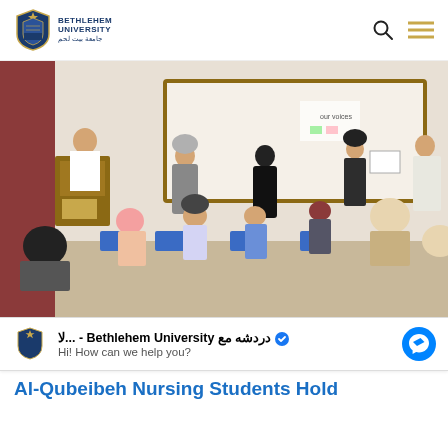Bethlehem University
[Figure (photo): Classroom scene with students sitting at blue chairs and several women standing near a whiteboard. One woman is writing on the whiteboard. A male student stands at a podium on the left. The room has a large whiteboard at the front and curtains on the left side.]
Bethlehem University - دردشه مع ل... Hi! How can we help you?
Al-Qubeibeh Nursing Students Hold